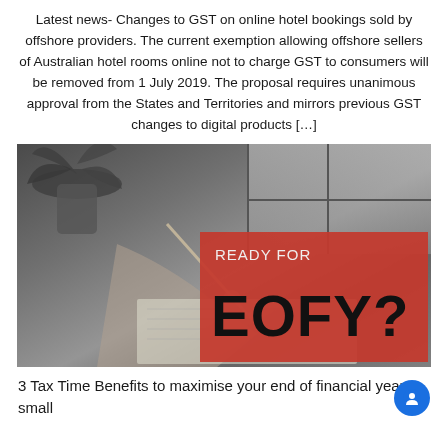Latest news- Changes to GST on online hotel bookings sold by offshore providers. The current exemption allowing offshore sellers of Australian hotel rooms online not to charge GST to consumers will be removed from 1 July 2019. The proposal requires unanimous approval from the States and Territories and mirrors previous GST changes to digital products […]
[Figure (photo): Black and white photo of a person writing in a notebook at a desk, with a red overlay box on the right side containing the text 'READY FOR EOFY?']
3 Tax Time Benefits to maximise your end of financial year small